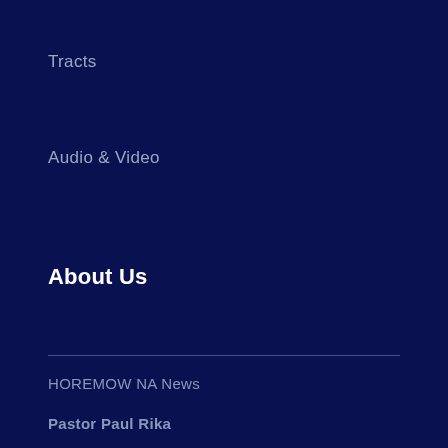Tracts
Audio & Video
About Us
HOREMOW NA News
Pastor Paul Rika
General
Contact